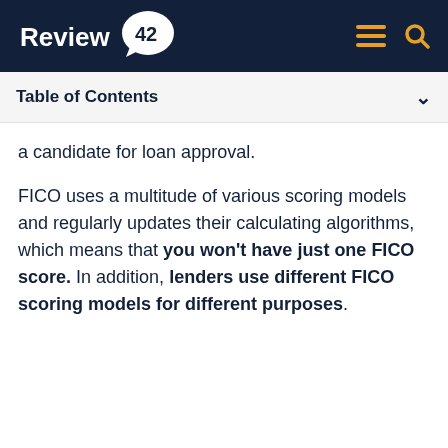Review42
Table of Contents
a candidate for loan approval.
FICO uses a multitude of various scoring models and regularly updates their calculating algorithms, which means that you won't have just one FICO score. In addition, lenders use different FICO scoring models for different purposes.